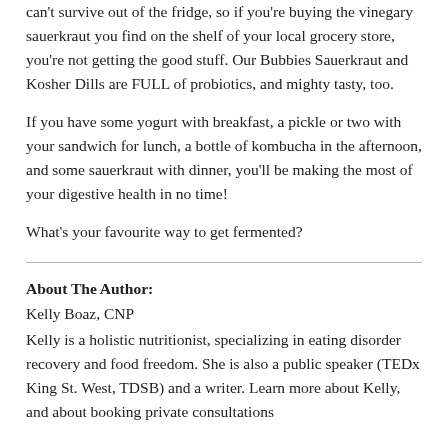can't survive out of the fridge, so if you're buying the vinegary sauerkraut you find on the shelf of your local grocery store, you're not getting the good stuff. Our Bubbies Sauerkraut and Kosher Dills are FULL of probiotics, and mighty tasty, too.
If you have some yogurt with breakfast, a pickle or two with your sandwich for lunch, a bottle of kombucha in the afternoon, and some sauerkraut with dinner, you'll be making the most of your digestive health in no time!
What's your favourite way to get fermented?
About The Author:
Kelly Boaz, CNP
Kelly is a holistic nutritionist, specializing in eating disorder recovery and food freedom. She is also a public speaker (TEDx King St. West, TDSB) and a writer. Learn more about Kelly, and about booking private consultations